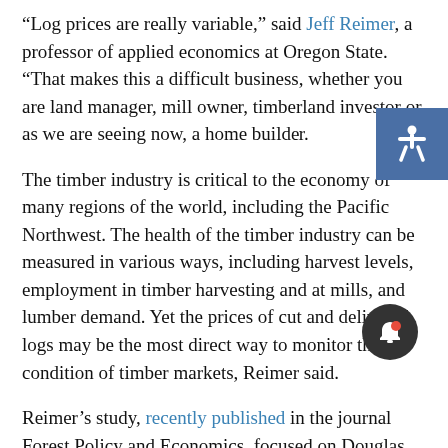“Log prices are really variable,” said Jeff Reimer, a professor of applied economics at Oregon State. “That makes this a difficult business, whether you are land manager, mill owner, timberland investor or, as we are seeing now, a home builder.
The timber industry is critical to the economy of many regions of the world, including the Pacific Northwest. The health of the timber industry can be measured in various ways, including harvest levels, employment in timber harvesting and at mills, and lumber demand. Yet the prices of cut and delivered logs may be the most direct way to monitor the condition of timber markets, Reimer said.
Reimer’s study, recently published in the journal Forest Policy and Economics, focused on Douglas fir, the most commercially important timber species in the Pacific Northwest.
He found that simply knowing the number of housing permits issued in a month can explain about 46.8% of the variation in log prices over time. Adding additional information—including